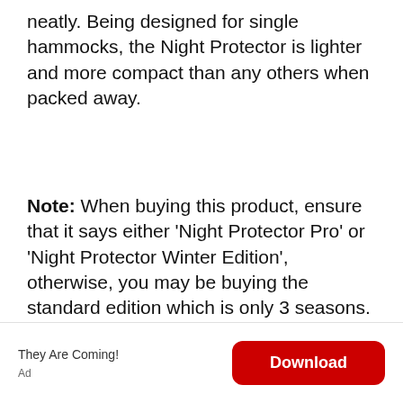neatly. Being designed for single hammocks, the Night Protector is lighter and more compact than any others when packed away.
Note: When buying this product, ensure that it says either ‘Night Protector Pro’ or ‘Night Protector Winter Edition’, otherwise, you may be buying the standard edition which is only 3 seasons.
They Are Coming!
Ad
Download